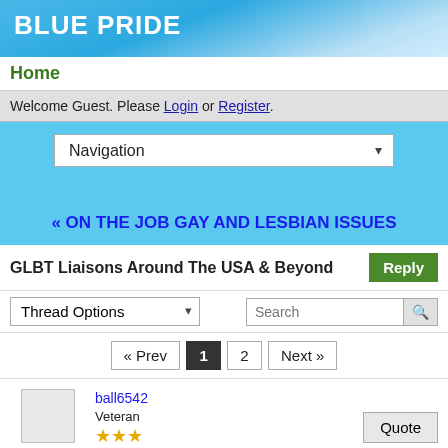BLUE PRIDE
Home
Welcome Guest. Please Login or Register.
Navigation
« ON THE JOB GAY AND LESBIAN ISSUES
GLBT Liaisons Around The USA & Beyond
Thread Options
Search
« Prev  1  2  Next »
ball6542
Veteran
★★★
May 29, 2011 at 2:30am
Quote
I've noticed in recent months that more and more departments are starting to post on line that they have a GLBT Liaison position within their DPs. I